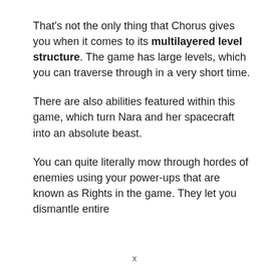That's not the only thing that Chorus gives you when it comes to its multilayered level structure. The game has large levels, which you can traverse through in a very short time.
There are also abilities featured within this game, which turn Nara and her spacecraft into an absolute beast.
You can quite literally mow through hordes of enemies using your power-ups that are known as Rights in the game. They let you dismantle entire
x